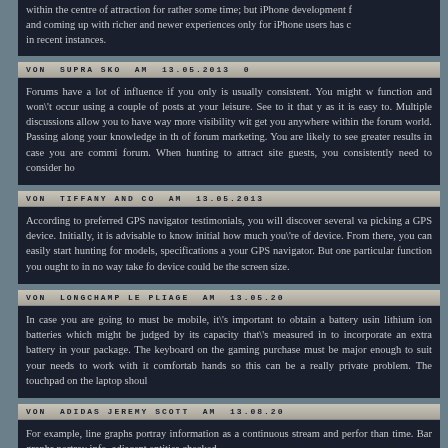within the centre of attraction for rather some time; but iPhone development f and coming up with richer and newer experiences only for iPhone users has c in recent instances.
VON SUPRA SKO AM 13.05.2013
Forums have a lot of influence if you only is usually consistent. You might w function and won't occur using a couple of posts at your leisure. See to it that as it is easy to. Multiple discussions allow you to have way more visibility wi get you anywhere within the forum world. Passing along your knowledge in t of forum marketing. You are likely to see greater results in case you are comm forum. When hunting to attract site guests, you consistently need to consider h
VON TIFFANY AND CO AM 13.05.2013
According to preferred GPS navigator testimonials, you will discover several v picking a GPS device. Initially, it is advisable to know initial how much you' of device. From there, you can easily start hunting for models, specifications your GPS navigator. But one particular function you ought to in no way take device could be the screen size.
VON LONGCHAMP LE PLIAGE AM 13.05.20
In case you are going to must be mobile, it's important to obtain a battery us lithium ion batteries which might be judged by its capacity that's measured in to incorporate an extra battery in your package. The keyboard on the gaming purchase must be major enough to suit your needs to work with it comforta hands so this can be a really private problem. The touchpad on the laptop sho
VON ADIDAS JEREMY SCOTT AM 13.08.20
For example, line graphs portray information as a continuous stream and perf than time. Bar graphs portray info, adjacent entities checked...